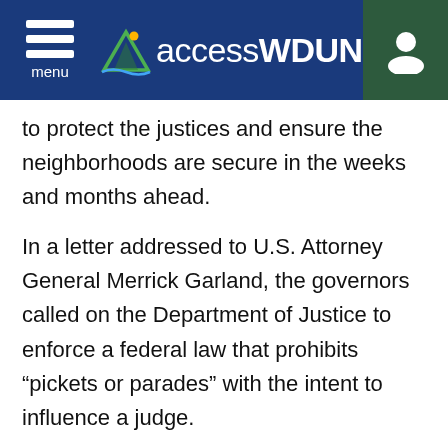accessWDUN
to protect the justices and ensure the neighborhoods are secure in the weeks and months ahead.
In a letter addressed to U.S. Attorney General Merrick Garland, the governors called on the Department of Justice to enforce a federal law that prohibits “pickets or parades” with the intent to influence a judge.
Separately, 25 Republican attorneys general wrote to Garland, citing the same law and urging him to prevent protesters "from attempting to intimidate"